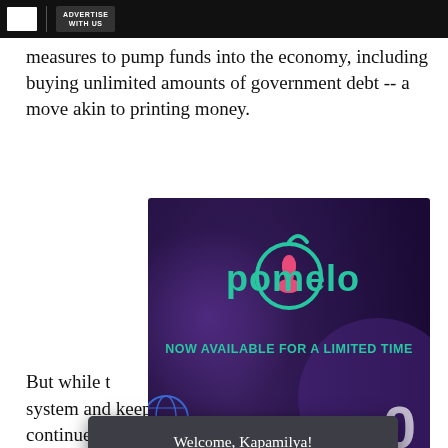ADVERTISE WITH US
measures to pump funds into the economy, including buying unlimited amounts of government debt -- a move akin to printing money.
[Figure (screenshot): Pomelo advertisement banner with dark purple gradient background showing the Pomelo logo (teal fruit outline with pink flower icon) and text 'NOW AVAILABLE FOR A LIMITED TIME' in teal bold letters, with a cookie consent modal overlay reading 'Welcome, Kapamilya! We use cookies to improve your browsing experience. Continuing to use this site means you agree to our use of cookies. Tell me more!' and an 'I AGREE!' button.]
But while t                                    financial system and keep businesses open, lawmakers continued haggling over an emergency aid package, with D                    re   illi                   ld